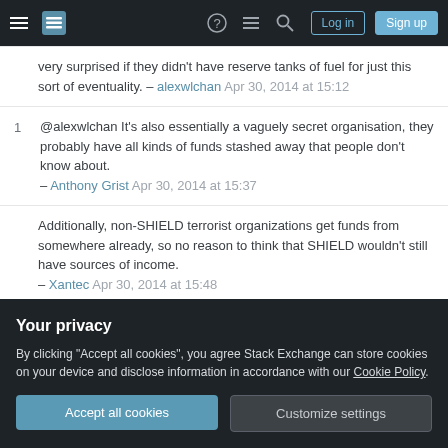Stack Exchange navigation bar with Log in and Sign up buttons
very surprised if they didn't have reserve tanks of fuel for just this sort of eventuality. – alexwlchan Apr 30, 2014 at 15:12
@alexwlchan It's also essentially a vaguely secret organisation, they probably have all kinds of funds stashed away that people don't know about. – Anthony Grist Apr 30, 2014 at 15:37
Additionally, non-SHIELD terrorist organizations get funds from somewhere already, so no reason to think that SHIELD wouldn't still have sources of income. – Xantec Apr 30, 2014 at 15:48
@Xantec If that so, I'd like to know. That can be
Your privacy
By clicking “Accept all cookies”, you agree Stack Exchange can store cookies on your device and disclose information in accordance with our Cookie Policy.
Accept all cookies
Customize settings